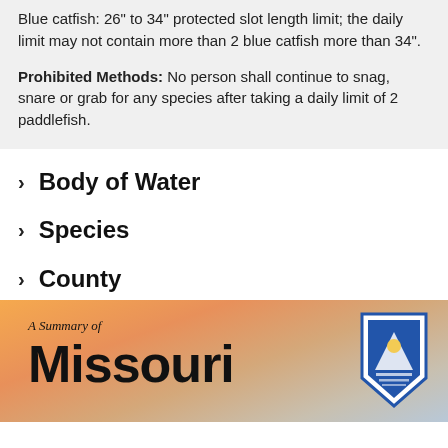Blue catfish: 26" to 34" protected slot length limit; the daily limit may not contain more than 2 blue catfish more than 34".
Prohibited Methods: No person shall continue to snag, snare or grab for any species after taking a daily limit of 2 paddlefish.
> Body of Water
> Species
> County
[Figure (illustration): A scenic sunset sky with orange and pink tones. Text reads 'A Summary of Missouri' with the Missouri Conservation Department shield logo on the right.]